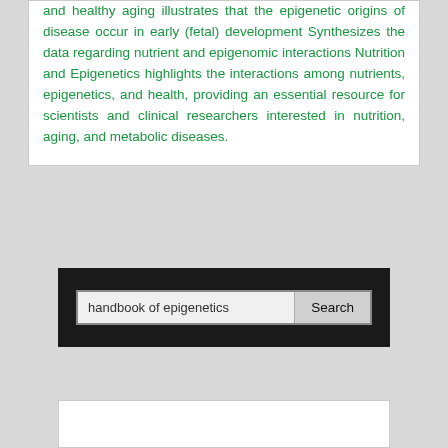and healthy aging illustrates that the epigenetic origins of disease occur in early (fetal) development Synthesizes the data regarding nutrient and epigenomic interactions Nutrition and Epigenetics highlights the interactions among nutrients, epigenetics, and health, providing an essential resource for scientists and clinical researchers interested in nutrition, aging, and metabolic diseases.
[Figure (screenshot): Search bar with text input showing 'handbook of epigenetics' and a Search button, on a dark background]